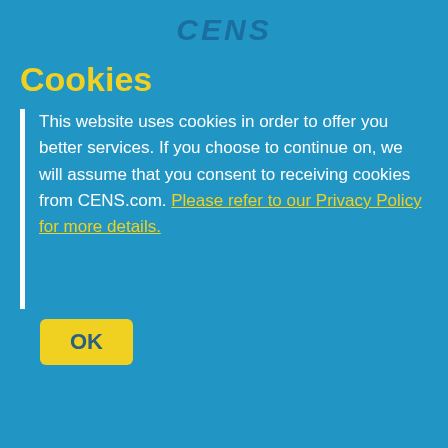CENS
Cookies
This website uses cookies in order to offer you better services. If you choose to continue on, we will assume that you consent to receiving cookies from CENS.com. Please refer to our Privacy Policy for more details.
OK
Forged Machinery Parts
Machinery Parts
1 matching result.
CHU YANG MACHINERY COMPONENT PARTS CO., LTD.
Global Buyers' Most Trusted Taiwan Supplier Platform Download on the App Store GET IT ON Google play